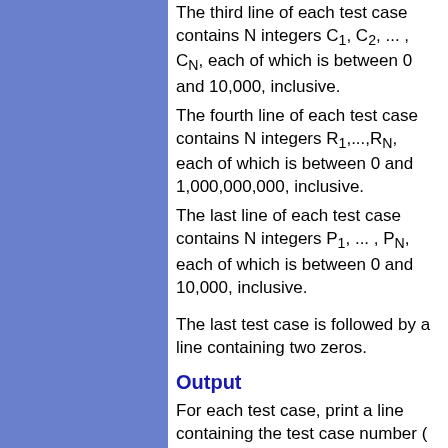The third line of each test case contains N integers C1, C2, ... , CN, each of which is between 0 and 10,000, inclusive.
The fourth line of each test case contains N integers R1,...,RN, each of which is between 0 and 1,000,000,000, inclusive.
The last line of each test case contains N integers P1, ... , PN, each of which is between 0 and 10,000, inclusive.
The last test case is followed by a line containing two zeros.
Output
For each test case, print a line containing the test case number ( beginning with 1) followed by the minimum amount of money the government has to pay.